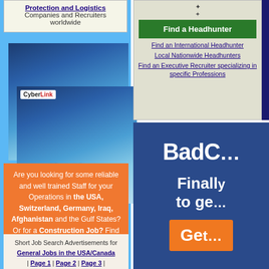Protection and Logistics Companies and Recruiters worldwide
[Figure (photo): CyberLink PhotoDirector advertisement with photo of person and water background. Text: PhotoDirector Turn Your Photos Into Art. Learn More button.]
Are you looking for some reliable and well trained Staff for your Operations in the USA, Switzerland, Germany, Iraq, Afghanistan and the Gulf States? Or for a Construction Job? Find them here!
Short Job Search Advertisements for General Jobs in the USA/Canada | Page 1 | Page 2 | Page 3 |
Short Job Search Advertisements for Jobs in Switzerland
Short Job Search Advertisements for Jobs in
[Figure (screenshot): Find a Headhunter section with green button and links: Find an International Headhunter, Local Nationwide Headhunters, Find an Executive Recruiter specializing in specific Professions]
[Figure (screenshot): BadCredit advertisement on dark blue background with orange Get button. Text: BadC... Finally to ge...]